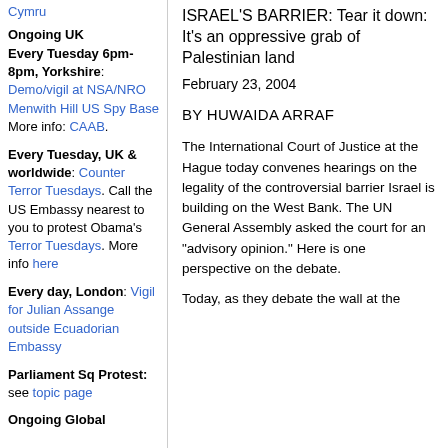Cymru
Ongoing UK
Every Tuesday 6pm-8pm, Yorkshire: Demo/vigil at NSA/NRO Menwith Hill US Spy Base More info: CAAB.
Every Tuesday, UK & worldwide: Counter Terror Tuesdays. Call the US Embassy nearest to you to protest Obama's Terror Tuesdays. More info here
Every day, London: Vigil for Julian Assange outside Ecuadorian Embassy
Parliament Sq Protest: see topic page
Ongoing Global
ISRAEL'S BARRIER: Tear it down: It's an oppressive grab of Palestinian land
February 23, 2004
BY HUWAIDA ARRAF
The International Court of Justice at the Hague today convenes hearings on the legality of the controversial barrier Israel is building on the West Bank. The UN General Assembly asked the court for an "advisory opinion." Here is one perspective on the debate.
Today, as they debate the wall at the